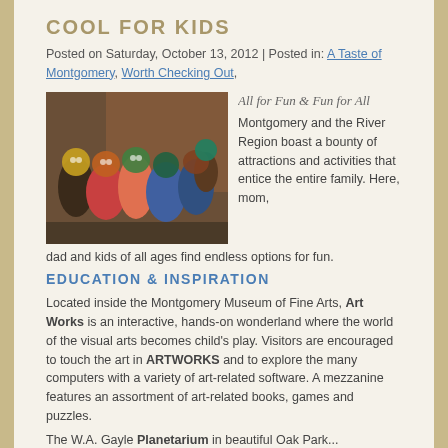COOL FOR KIDS
Posted on Saturday, October 13, 2012 | Posted in: A Taste of Montgomery, Worth Checking Out,
[Figure (photo): Group of children and adults wearing decorative masks in a museum setting]
All for Fun & Fun for All
Montgomery and the River Region boast a bounty of attractions and activities that entice the entire family. Here, mom, dad and kids of all ages find endless options for fun.
EDUCATION & INSPIRATION
Located inside the Montgomery Museum of Fine Arts, Art Works is an interactive, hands-on wonderland where the world of the visual arts becomes child's play. Visitors are encouraged to touch the art in ARTWORKS and to explore the many computers with a variety of art-related software. A mezzanine features an assortment of art-related books, games and puzzles.
The W.A. Gayle Planetarium in beautiful Oak Park...